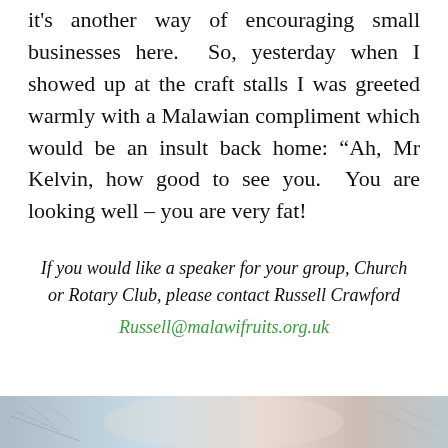it's another way of encouraging small businesses here. So, yesterday when I showed up at the craft stalls I was greeted warmly with a Malawian compliment which would be an insult back home: “Ah, Mr Kelvin, how good to see you. You are looking well – you are very fat!
If you would like a speaker for your group, Church or Rotary Club, please contact Russell Crawford
Russell@malawifruits.org.uk
[Figure (photo): Partial view of a photograph at the bottom of the page showing nature/outdoor scene with muted blue and warm tones]